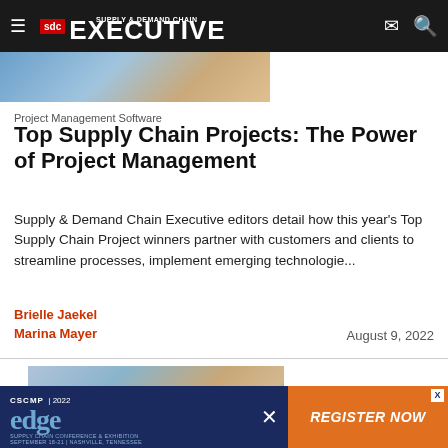Supply & Demand Chain Executive
[Figure (photo): Partial photo of workers in a supply chain / warehouse setting]
Project Management Software
Top Supply Chain Projects: The Power of Project Management
Supply & Demand Chain Executive editors detail how this year's Top Supply Chain Project winners partner with customers and clients to streamline processes, implement emerging technologie...
Brielle Jaekel
Marina Mayer
August 9, 2022
[Figure (photo): Partial photo of people in a business/teamwork context]
[Figure (infographic): CSCMP 2022 Edge Supply Chain Conference & Exhibition advertisement banner with Register Now call to action]